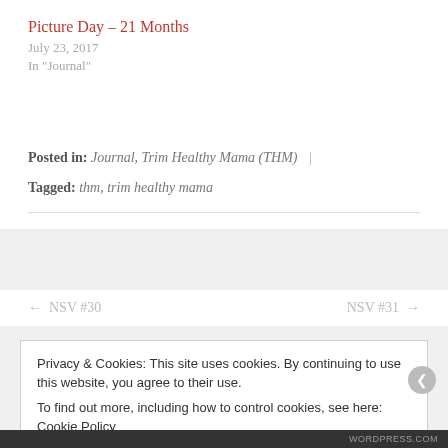Picture Day – 21 Months
July 23, 2017
In "Journal"
Posted in: Journal, Trim Healthy Mama (THM) | Tagged: thm, trim healthy mama
← NSV #30    NSV #31 →
Privacy & Cookies: This site uses cookies. By continuing to use this website, you agree to their use. To find out more, including how to control cookies, see here: Cookie Policy
Close and accept